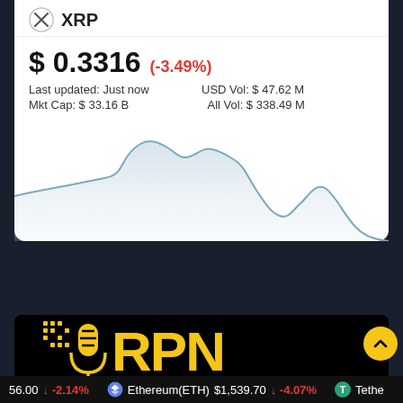XRP
$ 0.3316 (-3.49%)
Last updated: Just now   USD Vol: $ 47.62 M
Mkt Cap: $ 33.16 B   All Vol: $ 338.49 M
[Figure (line-chart): Line chart showing XRP price trend, declining over time with a peak in the middle-left area and a sharp drop toward the right end.]
[Figure (logo): RPN (Ripple? Podcast Network) logo — yellow microphone icon with pixel-art dots and large yellow text 'RPN' on black background]
56.00  ↓ -2.14%   Ethereum(ETH)  $1,539.70  ↓ -4.07%   Tethe